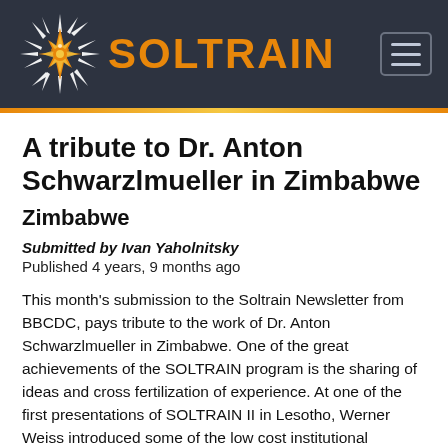[Figure (logo): SOLTRAIN logo with starburst/sunburst emblem on dark background header bar]
A tribute to Dr. Anton Schwarzlmueller in Zimbabwe
Zimbabwe
Submitted by Ivan Yaholnitsky
Published 4 years, 9 months ago
This month's submission to the Soltrain Newsletter from BBCDC, pays tribute to the work of Dr. Anton Schwarzlmueller in Zimbabwe. One of the great achievements of the SOLTRAIN program is the sharing of ideas and cross fertilization of experience. At one of the first presentations of SOLTRAIN II in Lesotho, Werner Weiss introduced some of the low cost institutional